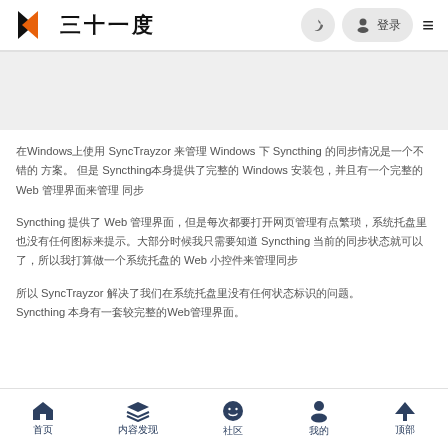三十一度
[Figure (screenshot): Gray banner/ad area below header]
在Windows上使用 SyncTrayzor 来管理 Windows 下 Syncthing 的同步情况是一个不错的 方案。 但是 Syncthing本身提供了完整的 Windows 安装包，并且有一个完整的 Web 管理界面来管理 同步
Syncthing 提供了 Web 管理界面，但是每次都要打开网页管理有点繁琐，系统托盘里也没有任何图标来提示。大部分时候我只需要知道 Syncthing 当前的同步状态就可以了，所以我打算做一个系统托盘的 Web 小控件来管理同步
所以 SyncTrayzor 解决了我们在系统托盘里没有任何状态标识的问题。
Syncthing 本身有一套较完整的Web管理界面。
首页  内容发现  社区  我的  顶部